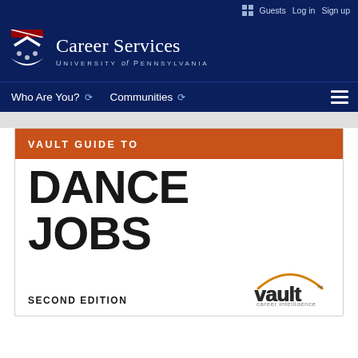Guests  Log in  Sign up
[Figure (logo): Career Services University of Pennsylvania header logo with Penn shield]
Who Are You?  Communities
VAULT GUIDE TO DANCE JOBS
SECOND EDITION
[Figure (logo): Vault career intelligence logo]